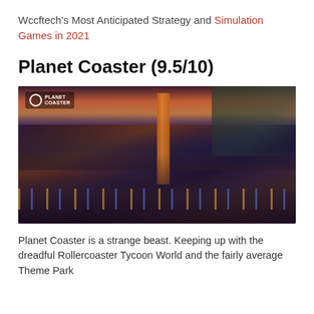Wccftech's Most Anticipated Strategy and Simulation Games in 2021
Planet Coaster (9.5/10)
[Figure (photo): Screenshot from Planet Coaster video game showing a crowded theme park scene at dusk with roller coasters, illuminated rides, large crowds of visitors, and colorful lighting. The Planet Coaster logo is visible in the top-left corner.]
Planet Coaster is a strange beast. Keeping up with the dreadful Rollercoaster Tycoon World and the fairly average Theme Park